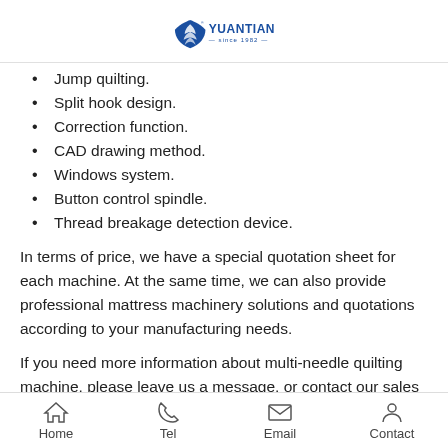YUANTIAN since 1982
Jump quilting.
Split hook design.
Correction function.
CAD drawing method.
Windows system.
Button control spindle.
Thread breakage detection device.
In terms of price, we have a special quotation sheet for each machine. At the same time, we can also provide professional mattress machinery solutions and quotations according to your manufacturing needs.
If you need more information about multi-needle quilting machine, please leave us a message, or contact our sales
Home  Tel  Email  Contact